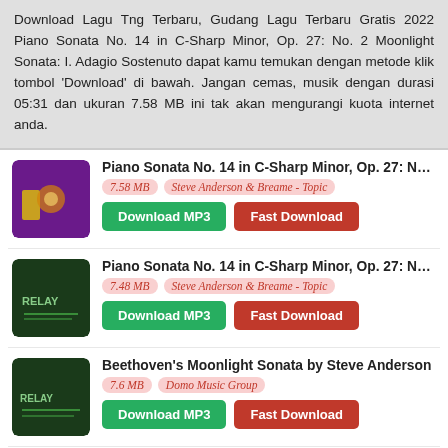Download Lagu Tng Terbaru, Gudang Lagu Terbaru Gratis 2022 Piano Sonata No. 14 in C-Sharp Minor, Op. 27: No. 2 Moonlight Sonata: I. Adagio Sostenuto dapat kamu temukan dengan metode klik tombol 'Download' di bawah. Jangan cemas, musik dengan durasi 05:31 dan ukuran 7.58 MB ini tak akan mengurangi kuota internet anda.
Piano Sonata No. 14 in C-Sharp Minor, Op. 27: No. 2... | 7.58 MB | Steve Anderson & Breame - Topic
Piano Sonata No. 14 in C-Sharp Minor, Op. 27: No. 2... | 7.48 MB | Steve Anderson & Breame - Topic
Beethoven's Moonlight Sonata by Steve Anderson | 7.6 MB | Domo Music Group
Beethoven Piano Sonata No 14 in C-Sharp Minor O... | 8.7 MB | Wilhelm Kempff - Topic